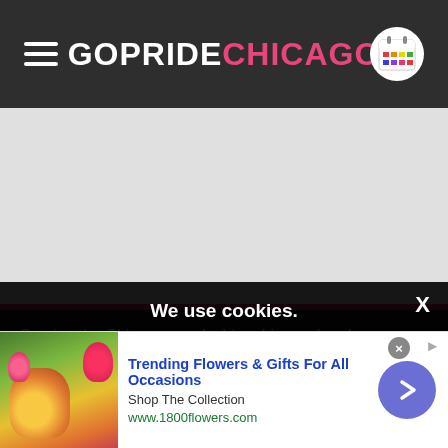GOPRIDE CHICAGO
[Figure (screenshot): Grey advertisement placeholder area]
Serving the Chicago gay, lesbian, bisexual and transgender communities. ©Copyright 2022 GoPride Networks. All rights reserved.
We use cookies.
Yes, we use cookies to ensure we give you the best experience using this website.
By closing this box or clicking on the continue button, you agree to our terms of use and consent to the use of
[Figure (infographic): Bottom advertisement banner for 1800flowers.com - Trending Flowers & Gifts For All Occasions]